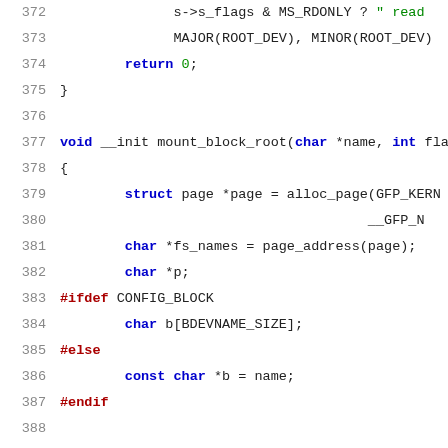[Figure (screenshot): Source code listing showing C code for mount_block_root function, lines 372-392+, with syntax highlighting. Line numbers in gray on the left, keywords in blue, preprocessor directives in dark red, and identifiers in black on white background.]